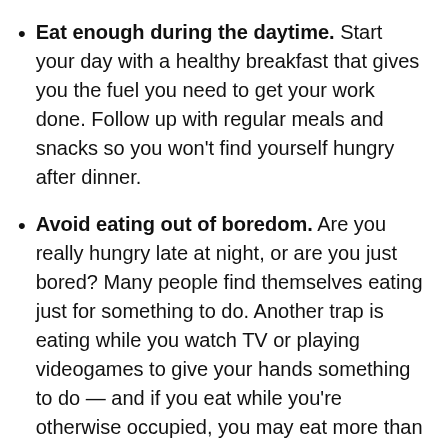Eat enough during the daytime. Start your day with a healthy breakfast that gives you the fuel you need to get your work done. Follow up with regular meals and snacks so you won't find yourself hungry after dinner.
Avoid eating out of boredom. Are you really hungry late at night, or are you just bored? Many people find themselves eating just for something to do. Another trap is eating while you watch TV or playing videogames to give your hands something to do — and if you eat while you're otherwise occupied, you may eat more than you intend.
Stop eating four hours before bedtime. If